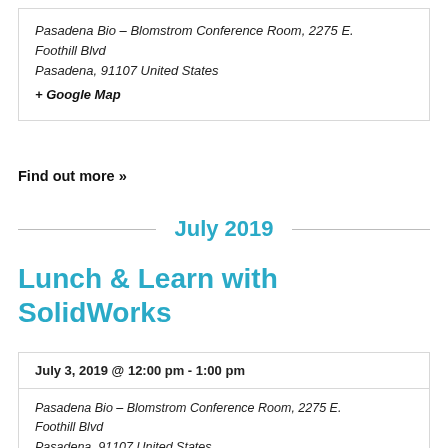Pasadena Bio – Blomstrom Conference Room, 2275 E. Foothill Blvd
Pasadena, 91107 United States
+ Google Map
Find out more »
July 2019
Lunch & Learn with SolidWorks
July 3, 2019 @ 12:00 pm - 1:00 pm
Pasadena Bio – Blomstrom Conference Room, 2275 E. Foothill Blvd
Pasadena, 91107 United States
+ Google Map